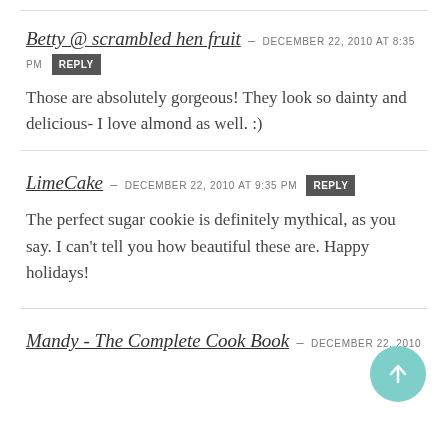Betty @ scrambled hen fruit – DECEMBER 22, 2010 at 8:35 PM [REPLY]
Those are absolutely gorgeous! They look so dainty and delicious- I love almond as well. :)
LimeCake – DECEMBER 22, 2010 at 9:35 PM [REPLY]
The perfect sugar cookie is definitely mythical, as you say. I can't tell you how beautiful these are. Happy holidays!
Mandy - The Complete Cook Book – DECEMBER 22, 2010